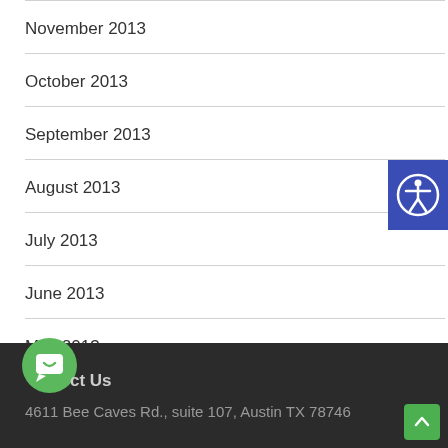November 2013
October 2013
September 2013
August 2013
July 2013
June 2013
May 2013
ct Us  4611 Bee Caves Rd., suite 107, Austin TX 78746